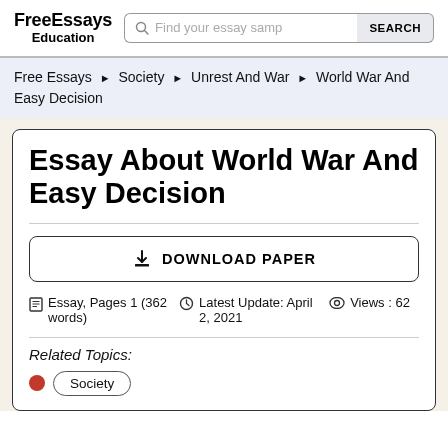FreeEssays Education
Free Essays ▶ Society ▶ Unrest And War ▶ World War And Easy Decision
Essay About World War And Easy Decision
DOWNLOAD PAPER
Essay, Pages 1 (362 words)   Latest Update: April 2, 2021   Views: 62
Related Topics:
Society